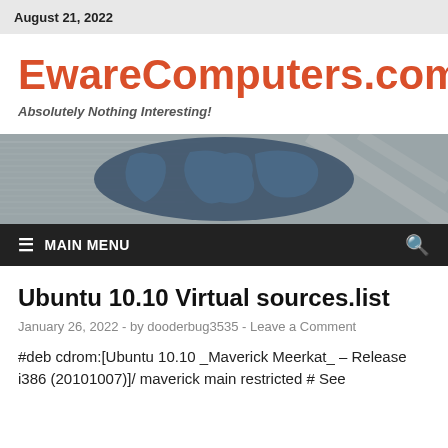August 21, 2022
EwareComputers.com
Absolutely Nothing Interesting!
[Figure (illustration): Website hero banner with a world map on a newspaper background in dark blue-gray tones]
MAIN MENU
Ubuntu 10.10 Virtual sources.list
January 26, 2022  -  by dooderbug3535  -  Leave a Comment
#deb cdrom:[Ubuntu 10.10 _Maverick Meerkat_ – Release i386 (20101007)]/ maverick main restricted # See